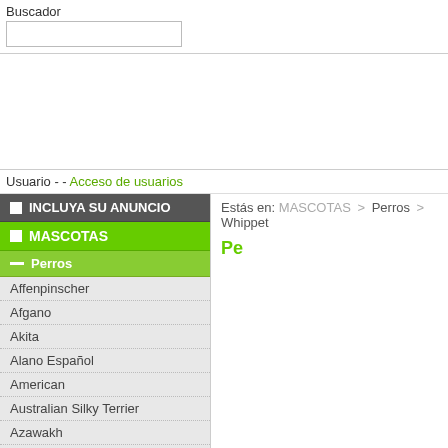Buscador
Usuario - - Acceso de usuarios
INCLUYA SU ANUNCIO
MASCOTAS
Perros
Affenpinscher
Afgano
Akita
Alano Español
American
Australian Silky Terrier
Azawakh
Barbet
Basenji
Basset
Beagle
Bedlington Terrier
Bichón
Billy
Black And Tan Coonhound
Bloodhound
Bobtail
Estás en: MASCOTAS > Perros > Whippet
Pe